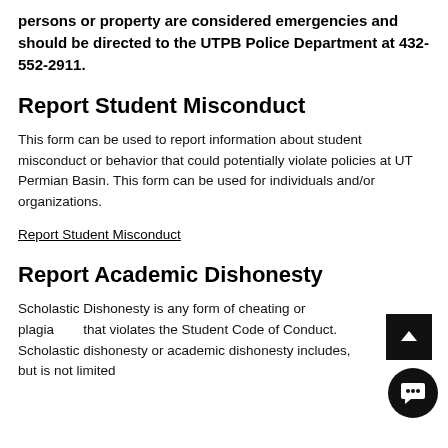persons or property are considered emergencies and should be directed to the UTPB Police Department at 432-552-2911.
Report Student Misconduct
This form can be used to report information about student misconduct or behavior that could potentially violate policies at UT Permian Basin. This form can be used for individuals and/or organizations.
Report Student Misconduct
Report Academic Dishonesty
Scholastic Dishonesty is any form of cheating or plagiarism that violates the Student Code of Conduct. Scholastic dishonesty or academic dishonesty includes, but is not limited